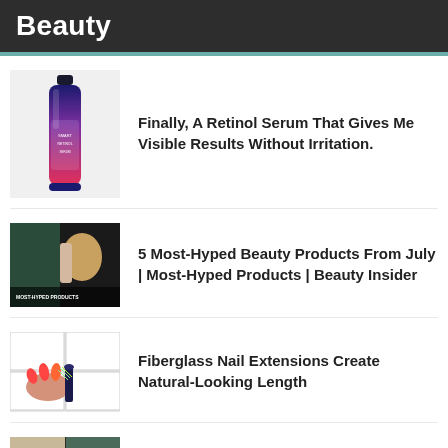Beauty
Finally, A Retinol Serum That Gives Me Visible Results Without Irritation.
5 Most-Hyped Beauty Products From July | Most-Hyped Products | Beauty Insider
Fiberglass Nail Extensions Create Natural-Looking Length
A detailed inside look into Jamie Chua's